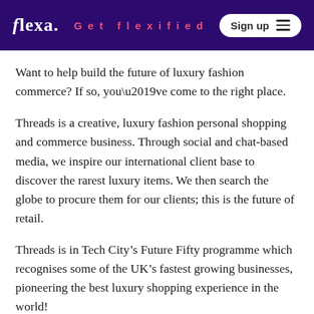flexa. | Get flexified | Sign up
Want to help build the future of luxury fashion commerce? If so, you’ve come to the right place.
Threads is a creative, luxury fashion personal shopping and commerce business. Through social and chat-based media, we inspire our international client base to discover the rarest luxury items. We then search the globe to procure them for our clients; this is the future of retail.
Threads is in Tech City’s Future Fifty programme which recognises some of the UK’s fastest growing businesses, pioneering the best luxury shopping experience in the world!
We are committed to equal employment opportunity